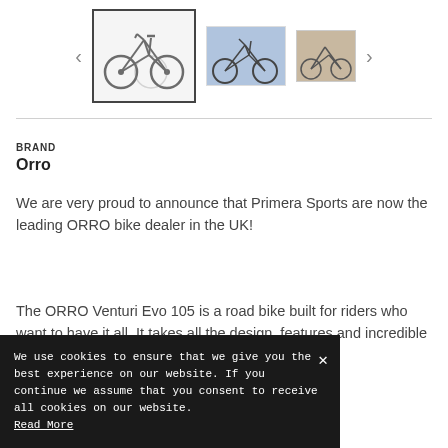[Figure (screenshot): Product image gallery showing bicycle thumbnails with navigation arrows. Left and right chevron arrows, one selected thumbnail with border showing black bicycle, one medium thumbnail showing bicycle in outdoor setting, one small partially visible thumbnail.]
BRAND
Orro
We are very proud to announce that Primera Sports are now the leading ORRO bike dealer in the UK!
The ORRO Venturi Evo 105 is a road bike built for riders who want to have it all. It takes all the design, features and incredible looks from the top
We use cookies to ensure that we give you the best experience on our website. If you continue we assume that you consent to receive all cookies on our website. Read More